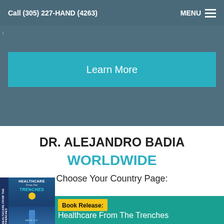Call (305) 227-HAND (4263)    MENU
[Figure (screenshot): Hero banner section with teal/slate blue background and a 'Learn More' button]
DR. ALEJANDRO BADIA WORLDWIDE
Choose Your Country Page:
[Figure (photo): Book cover of 'Healthcare From The Trenches' with a figure standing on a beach]
Book Release: Healthcare From The Trenches